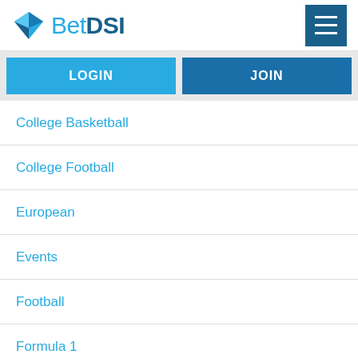[Figure (logo): BetDSI logo with blue diamond icon and text 'BetDSI' in blue]
LOGIN
JOIN
College Basketball
College Football
European
Events
Football
Formula 1
Golf
Hockey
Horseracing Specials